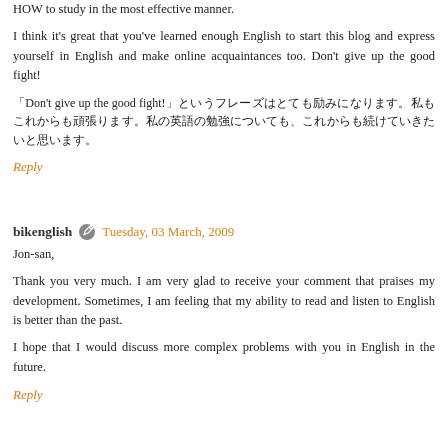HOW to study in the most effective manner.
I think it's great that you've learned enough English to start this blog and express yourself in English and make online acquaintances too. Don't give up the good fight!
「Don't give up the good fight!」というフレーズはとても励みになります。私もこれからも頑張ります。
Reply
bikenglish  Tuesday, 03 March, 2009
Jon-san,
Thank you very much. I am very glad to receive your comment that praises my development. Sometimes, I am feeling that my ability to read and listen to English is better than the past.
I hope that I would discuss more complex problems with you in English in the future.
Reply